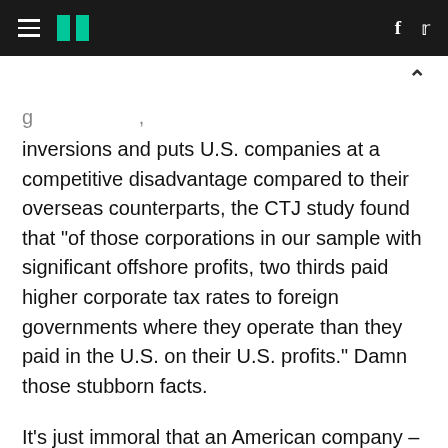HuffPost navigation with hamburger menu, logo, Facebook and Twitter links
inversions and puts U.S. companies at a competitive disadvantage compared to their overseas counterparts, the CTJ study found that "of those corporations in our sample with significant offshore profits, two thirds paid higher corporate tax rates to foreign governments where they operate than they paid in the U.S. on their U.S. profits." Damn those stubborn facts.
It's just immoral that an American company -- one that sells its products to American consumers, grew strong thanks to the skills of an